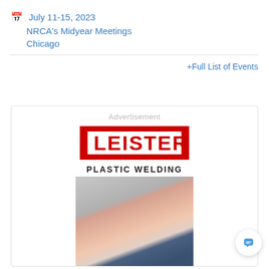July 11-15, 2023 NRCA's Midyear Meetings Chicago
+Full List of Events
[Figure (advertisement): Advertisement box containing Leister Plastic Welding logo and an image of hands welding plastic material. The Leister logo is in red with white text in a red-bordered rectangle. Below it reads PLASTIC WELDING in bold black letters.]